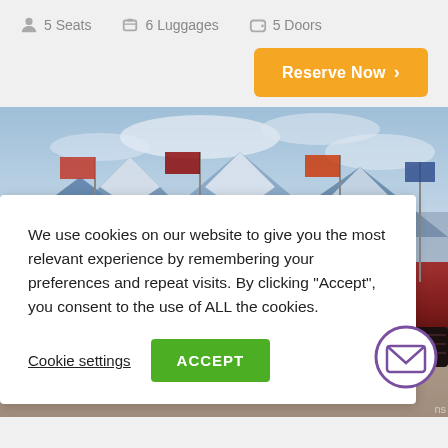5 Seats   6 Luggages   5 Doors
Reserve Now ›
[Figure (photo): Outdoor scene with a red Nissan SUV in the foreground, flagpoles with colorful flags, snow-capped mountains and cloudy sky in the background]
We use cookies on our website to give you the most relevant experience by remembering your preferences and repeat visits. By clicking "Accept", you consent to the use of ALL the cookies.
Cookie settings
ACCEPT